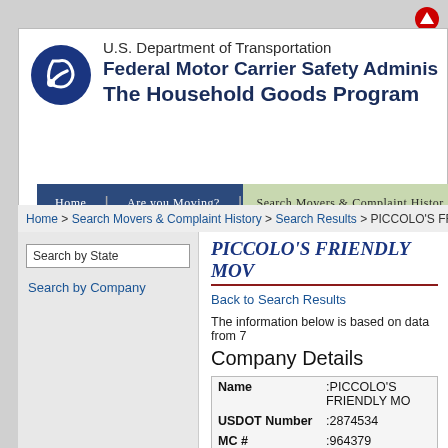U.S. Department of Transportation Federal Motor Carrier Safety Administration The Household Goods Program
Home | Are you Moving? | Search Movers & Complaint History
Home > Search Movers & Complaint History > Search Results > PICCOLO'S FRIENDLY MOV
PICCOLO'S FRIENDLY MOV
Back to Search Results
The information below is based on data from 7
Company Details
| Field | Value |
| --- | --- |
| Name | :PICCOLO'S FRIENDLY MO |
| USDOT Number | :2874534 |
| MC # | :964379 |
| Address | :420 STERLING DR
 RED LION, PA 17356 |
| Mailing Address | :Same as above |
| Telephone | :(717)318-4418 |
| Fax | : |